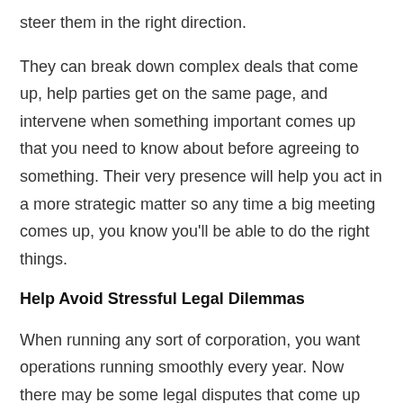steer them in the right direction.
They can break down complex deals that come up, help parties get on the same page, and intervene when something important comes up that you need to know about before agreeing to something. Their very presence will help you act in a more strategic matter so any time a big meeting comes up, you know you'll be able to do the right things.
Help Avoid Stressful Legal Dilemmas
When running any sort of corporation, you want operations running smoothly every year. Now there may be some legal disputes that come up every now and then, but for the most part, you want them being scarce. This can happen if you